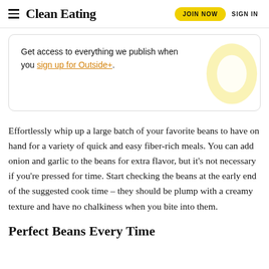Clean Eating | JOIN NOW | SIGN IN
Get access to everything we publish when you sign up for Outside+.
Effortlessly whip up a large batch of your favorite beans to have on hand for a variety of quick and easy fiber-rich meals. You can add onion and garlic to the beans for extra flavor, but it’s not necessary if you’re pressed for time. Start checking the beans at the early end of the suggested cook time – they should be plump with a creamy texture and have no chalkiness when you bite into them.
Perfect Beans Every Time